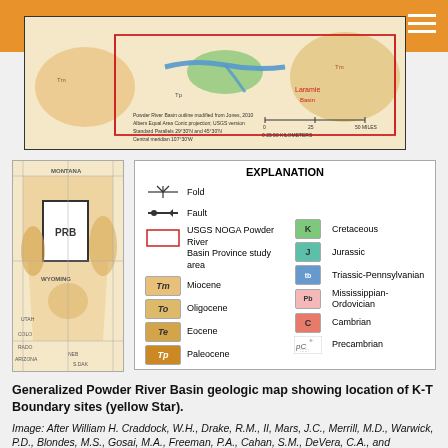[Figure (map): Top portion of a generalized Powder River Basin geologic map with orange header bar and hamburger menu icon. Shows a detailed geologic/topographic map with colored regions, river lines, and red boundary lines.]
[Figure (map): Small locator map showing the Powder River Basin (PRB) study area location relative to surrounding states including Montana, Wyoming, Utah, Arizona.]
[Figure (other): Explanation/legend box showing geologic map symbols: Fold, Fault, USGS NOGA Powder River Basin Province study area, and color-coded geologic period boxes: Miocene (Tm), Oligocene (To), Eocene (Te), Paleocene (Tp), Cretaceous (K), Jurassic (J), Triassic-Pennsylvanian (tb), Mississippian-Ordovician (Pb), Cambrian (C), Precambrian (pC).]
Generalized Powder River Basin geologic map showing location of K-T Boundary sites (yellow Star).
Image: After William H. Craddock, W.H., Drake, R.M., II, Mars, J.C., Merrill, M.D., Warwick, P.D., Blondes, M.S., Gosai, M.A., Freeman, P.A., Cahan, S.M., DeVera, C.A., and